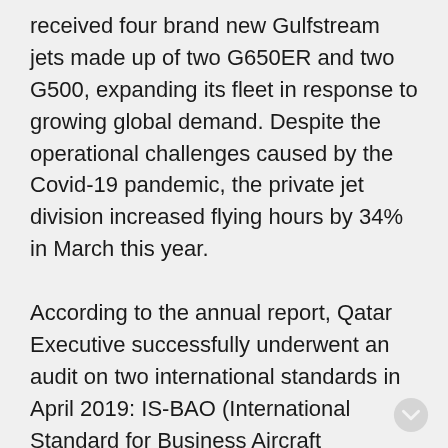received four brand new Gulfstream jets made up of two G650ER and two G500, expanding its fleet in response to growing global demand. Despite the operational challenges caused by the Covid-19 pandemic, the private jet division increased flying hours by 34% in March this year. According to the annual report, Qatar Executive successfully underwent an audit on two international standards in April 2019: IS-BAO (International Standard for Business Aircraft Operators) and Wyvern Wingman. These are two internationally recognised aviation safety standards in the business and charter jet fields; IS-BAO is based on ICAO (International Civil Aviation Organisation)